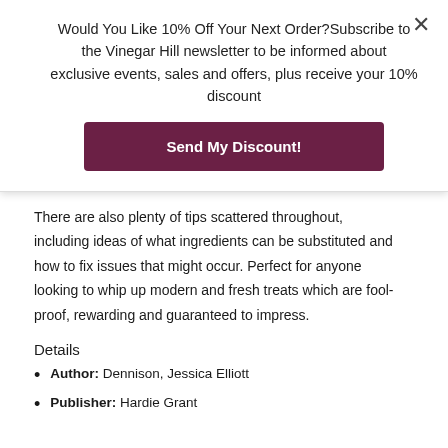Would You Like 10% Off Your Next Order?Subscribe to the Vinegar Hill newsletter to be informed about exclusive events, sales and offers, plus receive your 10% discount
Send My Discount!
craving and impressive baked crispbreads for wine tasting. There are also plenty of tips scattered throughout, including ideas of what ingredients can be substituted and how to fix issues that might occur. Perfect for anyone looking to whip up modern and fresh treats which are fool-proof, rewarding and guaranteed to impress.
Details
Author: Dennison, Jessica Elliott
Publisher: Hardie Grant